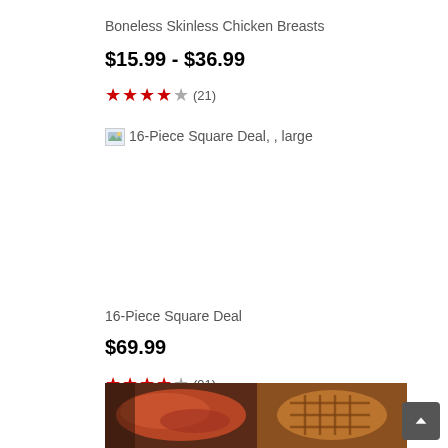Boneless Skinless Chicken Breasts
$15.99 - $36.99
★★★★☆ (21)
[Figure (photo): Broken image placeholder labeled '16-Piece Square Deal, , large']
16-Piece Square Deal
$69.99
★★★★☆ (91)
[Figure (photo): Product image showing raw meat on the left and a grilled/baked dish on the right]